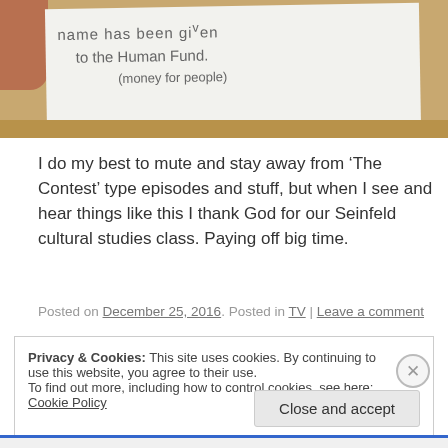[Figure (photo): A hand holding a white card/note with handwritten text reading 'name has been given to the Human Fund (money for people)' against a wooden background]
I do my best to mute and stay away from ‘The Contest’ type episodes and stuff, but when I see and hear things like this I thank God for our Seinfeld cultural studies class. Paying off big time.
Posted on December 25, 2016. Posted in TV | Leave a comment
Privacy & Cookies: This site uses cookies. By continuing to use this website, you agree to their use.
To find out more, including how to control cookies, see here: Cookie Policy
Close and accept